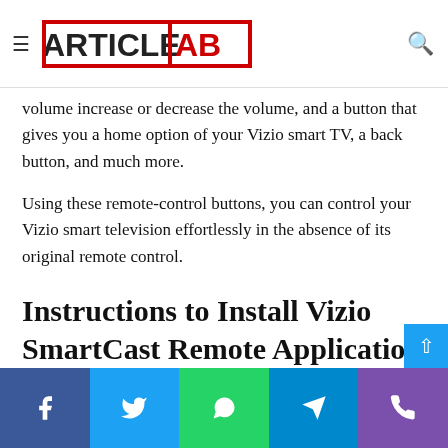ArticleTab - navigation header with logo and search icon
volume increase or decrease the volume, and a button that gives you a home option of your Vizio smart TV, a back button, and much more.
Using these remote-control buttons, you can control your Vizio smart television effortlessly in the absence of its original remote control.
Instructions to Install Vizio SmartCast Remote Application
The following are the set of instructions you should follow to install the Vizio SmartCast Remote application on your smartphone (Android/ iOS). Follow these steps carefully to install smartcast remote application.
Social share buttons: Facebook, Twitter, WhatsApp, Telegram, Phone